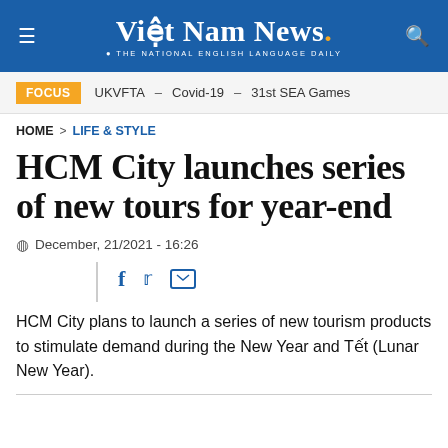Việt Nam News. THE NATIONAL ENGLISH LANGUAGE DAILY
FOCUS   UKVFTA – Covid-19 – 31st SEA Games
HOME > LIFE & STYLE
HCM City launches series of new tours for year-end
December, 21/2021 - 16:26
HCM City plans to launch a series of new tourism products to stimulate demand during the New Year and Tết (Lunar New Year).